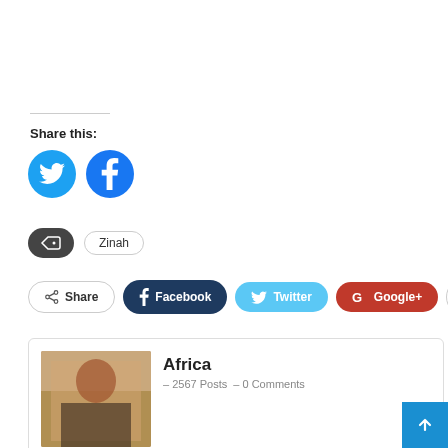Share this:
[Figure (illustration): Twitter and Facebook circular share buttons (blue circles with white icons)]
[Figure (illustration): Tag icon button (dark rounded rectangle) followed by 'Zinah' pill tag]
[Figure (illustration): Social share buttons row: Share, Facebook, Twitter, Google+, plus button]
[Figure (illustration): Author box with photo of Africa, showing name 'Africa', 2567 Posts, 0 Comments]
Africa – 2567 Posts – 0 Comments